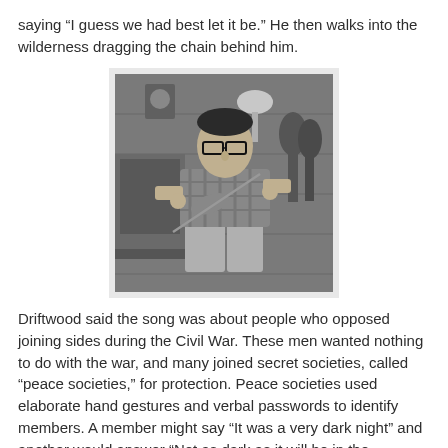saying “I guess we had best let it be.” He then walks into the wilderness dragging the chain behind him.
[Figure (photo): Black and white photograph of a man with glasses playing a fiddle/violin while seated, with guitars hanging on a wooden wall in the background and a lamp visible.]
Driftwood said the song was about people who opposed joining sides during the Civil War. These men wanted nothing to do with the war, and many joined secret societies, called “peace societies,” for protection. Peace societies used elaborate hand gestures and verbal passwords to identify members. A member might say “It was a very dark night” and another would answer “Not as dark as it will be in the morning.”